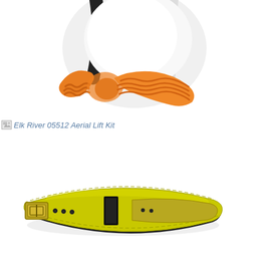[Figure (photo): Close-up photo of an orange bungee/lanyard connector with white and black harness webbing visible, partial view from top]
Elk River 05512 Aerial Lift Kit
[Figure (photo): Photo of a yellow/chartreuse leather tool belt with black padding, metal buckle, and grommets, shown lying flat]